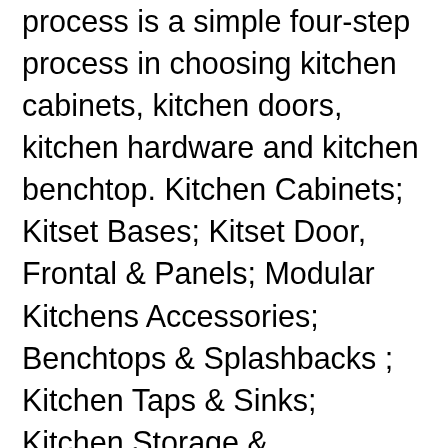process is a simple four-step process in choosing kitchen cabinets, kitchen doors, kitchen hardware and kitchen benchtop. Kitchen Cabinets; Kitset Bases; Kitset Door, Frontal & Panels; Modular Kitchens Accessories; Benchtops & Splashbacks ; Kitchen Taps & Sinks; Kitchen Storage & Accessories; Laundry; Laundry Equipment . See more ideas about Kitchen, Kitchen renovation, Kitchen cabinets. Check out our range of kitchen doors at your local bunnings warehouse. Contact Us. Hi all. Flatpax Kaboodle View All 1245 Products. It dries to touch dry in an hour – but slowly hardens over two weeks or so. Be very careful reassembling the doors- yes I scratched one with my screwdriver. Bunnings Kitchen Cabinet Doors. Check out our widest range of kitchen cabinets from brands you know & trust. Supplier of affordable kitchen